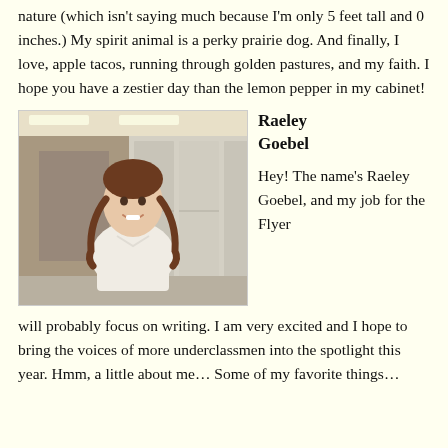nature (which isn't saying much because I'm only 5 feet tall and 0 inches.) My spirit animal is a perky prairie dog. And finally, I love, apple tacos, running through golden pastures, and my faith. I hope you have a zestier day than the lemon pepper in my cabinet!
[Figure (photo): Young girl with braided pigtails wearing a white shirt, smiling in a school hallway near lockers.]
Raeley Goebel
Hey! The name's Raeley Goebel, and my job for the Flyer will probably focus on writing. I am very excited and I hope to bring the voices of more underclassmen into the spotlight this year. Hmm, a little about me… Some of my favorite things…